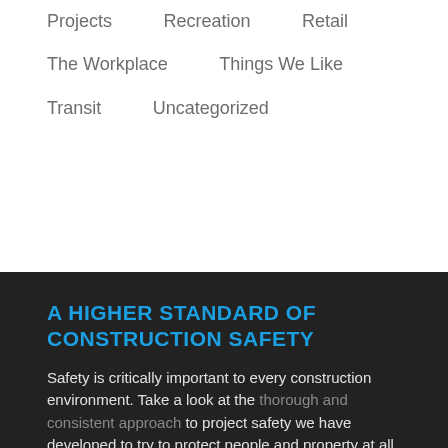Projects
Recreation
Retail
The Workplace
Things We Like
Transit
Uncategorized
A HIGHER STANDARD OF CONSTRUCTION SAFETY
Safety is critically important to every construction environment. Take a look at the thorough and consistent approach to project safety we have developed to try to protect people and property at all